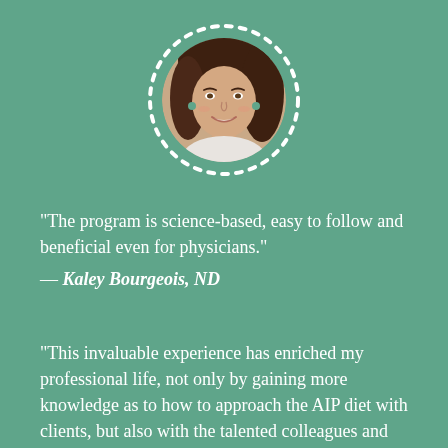[Figure (photo): Circular portrait photo of a smiling woman with brown hair, surrounded by a dotted white circle border, on a teal/green background.]
“The program is science-based, easy to follow and beneficial even for physicians.” — Kaley Bourgeois, ND
“This invaluable experience has enriched my professional life, not only by gaining more knowledge as to how to approach the AIP diet with clients, but also with the talented colleagues and friends I…